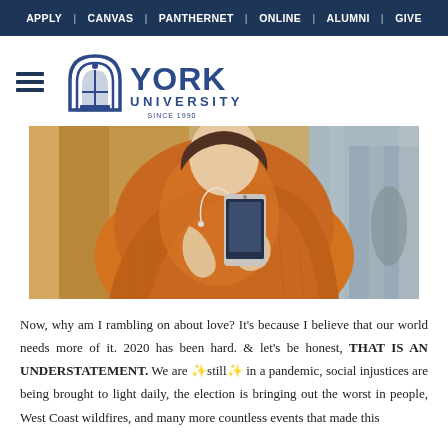APPLY | CANVAS | PANTHERNET | ONLINE | ALUMNI | GIVE
[Figure (logo): York University logo with arch/building icon and text 'YORK UNIVERSITY SINCE 1990']
[Figure (photo): A person in an orange knit sweater holding a smartphone with earphones, photographed outdoors near a building]
Now, why am I rambling on about love? It's because I believe that our world needs more of it. 2020 has been hard. & let's be honest, THAT IS AN UNDERSTATEMENT. We are ✨still✨ in a pandemic, social injustices are being brought to light daily, the election is bringing out the worst in people, West Coast wildfires, and many more countless events that made this